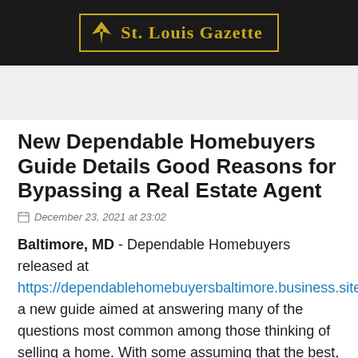[Figure (logo): St. Louis Gazette newspaper logo with gold pen icon and blackletter text on dark background]
New Dependable Homebuyers Guide Details Good Reasons for Bypassing a Real Estate Agent
December 23, 2021 at 23:02
Baltimore, MD - Dependable Homebuyers released at https://dependablehomebuyersbaltimore.business.site/post a new guide aimed at answering many of the questions most common among those thinking of selling a home. With some assuming that the best, easiest way to sell a